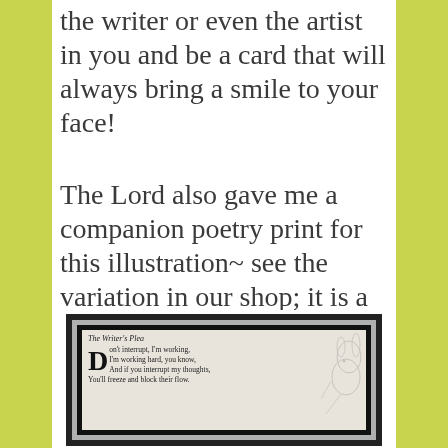the writer or even the artist in you and be a card that will always bring a smile to your face!
The Lord also gave me a companion poetry print for this illustration~ see the variation in our shop; it is a whimsical take on the rabbit writer.
[Figure (illustration): A framed poetry print titled 'The Writer's Plea' showing a decorative drop capital D beginning the poem 'Don't interrupt, I'm working, I'm working hard, you know, And if you interrupt my thoughts, You'll freeze and block their flow.' with a sketch of a rabbit in the background, displayed in a black frame with silver mat.]